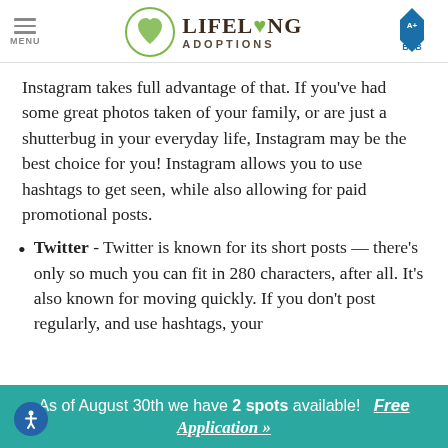MENU | LIFELONG ADOPTIONS | BBB A+
Instagram takes full advantage of that. If you've had some great photos taken of your family, or are just a shutterbug in your everyday life, Instagram may be the best choice for you! Instagram allows you to use hashtags to get seen, while also allowing for paid promotional posts.
Twitter - Twitter is known for its short posts — there's only so much you can fit in 280 characters, after all. It's also known for moving quickly. If you don't post regularly, and use hashtags, your
As of August 30th we have 2 spots available! Free Application »